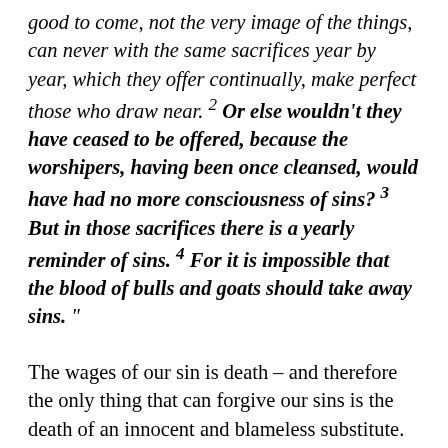good to come, not the very image of the things, can never with the same sacrifices year by year, which they offer continually, make perfect those who draw near. 2 Or else wouldn't they have ceased to be offered, because the worshipers, having been once cleansed, would have had no more consciousness of sins? 3 But in those sacrifices there is a yearly reminder of sins. 4 For it is impossible that the blood of bulls and goats should take away sins.”
The wages of our sin is death – and therefore the only thing that can forgive our sins is the death of an innocent and blameless substitute.